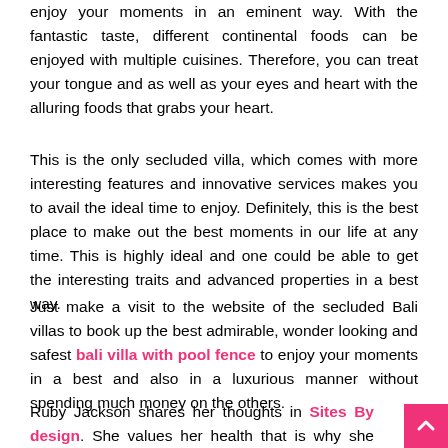enjoy your moments in an eminent way. With the fantastic taste, different continental foods can be enjoyed with multiple cuisines. Therefore, you can treat your tongue and as well as your eyes and heart with the alluring foods that grabs your heart.
This is the only secluded villa, which comes with more interesting features and innovative services makes you to avail the ideal time to enjoy. Definitely, this is the best place to make out the best moments in our life at any time. This is highly ideal and one could be able to get the interesting traits and advanced properties in a best way.
Just make a visit to the website of the secluded Bali villas to book up the best admirable, wonder looking and safest bali villa with pool fence to enjoy your moments in a best and also in a luxurious manner without spending much money on the others.
Ruby Jackson shares her thoughts in Sites By design. She values her health that is why she spends her free time